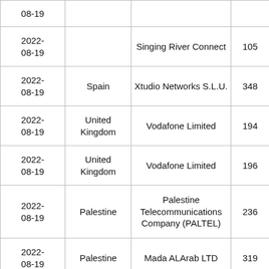| Date | Country | ISP | Number |
| --- | --- | --- | --- |
| 2022-08-19 |  |  |  |
| 2022-08-19 |  | Singing River Connect | 105 |
| 2022-08-19 | Spain | Xtudio Networks S.L.U. | 348 |
| 2022-08-19 | United Kingdom | Vodafone Limited | 194 |
| 2022-08-19 | United Kingdom | Vodafone Limited | 196 |
| 2022-08-19 | Palestine | Palestine Telecommunications Company (PALTEL) | 236 |
| 2022-08-19 | Palestine | Mada ALArab LTD | 319 |